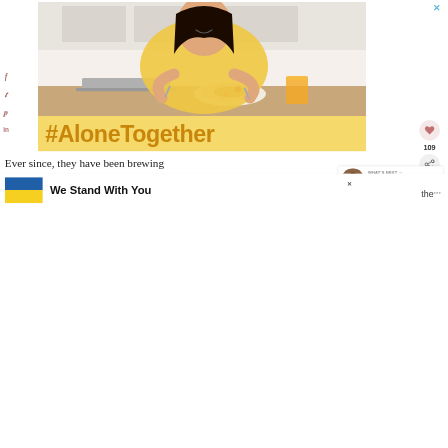[Figure (photo): Young Asian woman smiling, wearing a yellow/mustard t-shirt, sitting at a kitchen table with a laptop, plate of food, and glass of orange juice. Bright kitchen background.]
#AloneTogether
Ever since, they have been brewing
We Stand With You